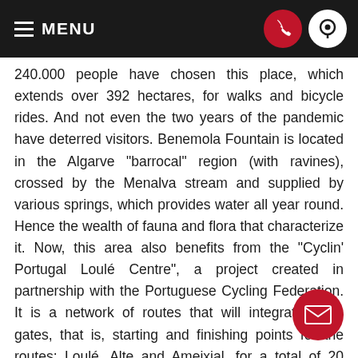MENU
240.000 people have chosen this place, which extends over 392 hectares, for walks and bicycle rides. And not even the two years of the pandemic have deterred visitors. Benemola Fountain is located in the Algarve "barrocal" region (with ravines), crossed by the Menalva stream and supplied by various springs, which provides water all year round. Hence the wealth of fauna and flora that characterize it. Now, this area also benefits from the "Cyclin' Portugal Loulé Centre", a project created in partnership with the Portuguese Cycling Federation. It is a network of routes that will integrate three gates, that is, starting and finishing points for the routes: Loulé, Alte and Ameixial, for a total of 20 routes and around 00 kilometres of cycling.